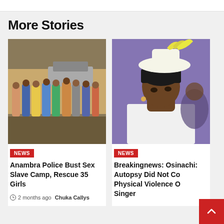More Stories
[Figure (photo): Group of young women standing with their backs to camera, outdoors near a wall and vehicle]
NEWS
Anambra Police Bust Sex Slave Camp, Rescue 35 Girls
2 months ago  Chuka Callys
[Figure (photo): Woman in white dress and elaborate white feathered hat, looking sideways, with purple background]
NEWS
Breakingnews: Osinachi: Autopsy Did Not Confirm Physical Violence On Singer